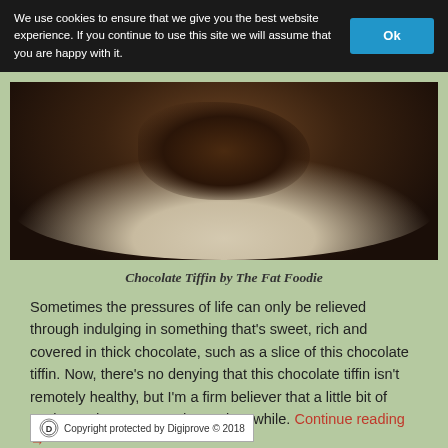We use cookies to ensure that we give you the best website experience. If you continue to use this site we will assume that you are happy with it. Ok
[Figure (photo): Close-up photo of a slice of Chocolate Tiffin on a plate with red and green decorative rings]
Chocolate Tiffin by The Fat Foodie
Sometimes the pressures of life can only be relieved through indulging in something that’s sweet, rich and covered in thick chocolate, such as a slice of this chocolate tiffin. Now, there’s no denying that this chocolate tiffin isn’t remotely healthy, but I’m a firm believer that a little bit of tastiness does you good once in a while. Continue reading →
Copyright protected by Digiprove © 2018